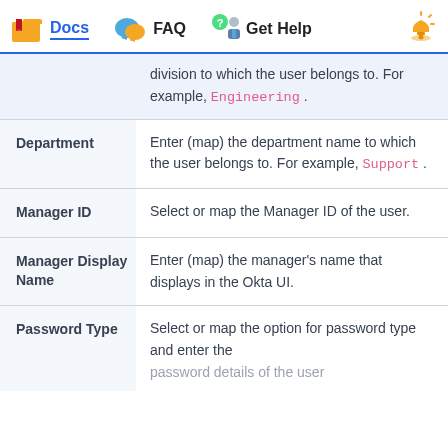Docs  FAQ  Get Help
| Field | Description |
| --- | --- |
|  | division to which the user belongs to. For example, Engineering . |
| Department | Enter (map) the department name to which the user belongs to. For example, Support . |
| Manager ID | Select or map the Manager ID of the user. |
| Manager Display Name | Enter (map) the manager's name that displays in the Okta UI. |
| Password Type | Select or map the option for password type and enter the password details of the user. |